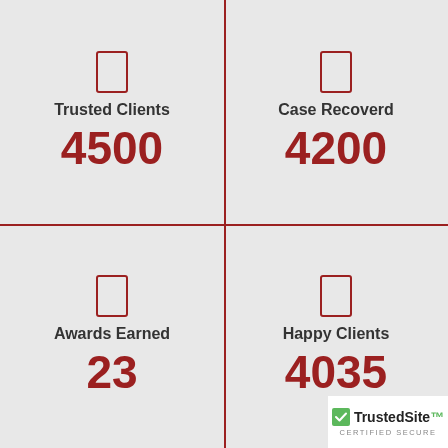[Figure (infographic): Four-quadrant stats infographic divided by red cross lines. Top-left: icon, 'Trusted Clients', 4500. Top-right: icon, 'Case Recoverd', 4200. Bottom-left: icon, 'Awards Earned', 23. Bottom-right: icon, 'Happy Clients', 4035. TrustedSite certified secure badge in bottom-right corner.]